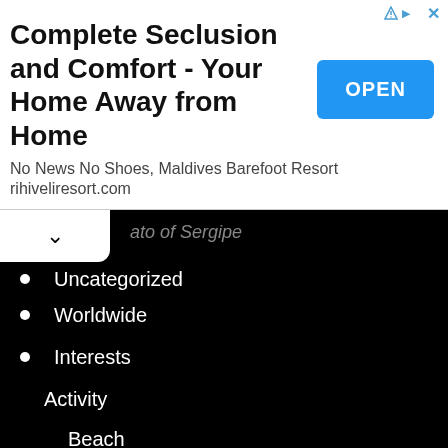[Figure (screenshot): Advertisement banner for Rihiveli Resort - Complete Seclusion and Comfort - Your Home Away from Home, with OPEN button]
ato of Sergipe
Uncategorized
Worldwide
Interests
Activity
Beach
Cycling
Motocycling
Sky Activity